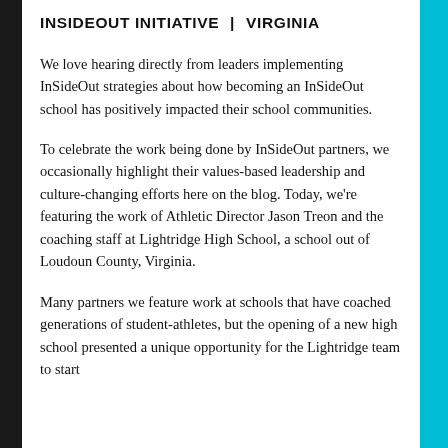INSIDEOUT INITIATIVE | VIRGINIA
We love hearing directly from leaders implementing InSideOut strategies about how becoming an InSideOut school has positively impacted their school communities.
To celebrate the work being done by InSideOut partners, we occasionally highlight their values-based leadership and culture-changing efforts here on the blog. Today, we're featuring the work of Athletic Director Jason Treon and the coaching staff at Lightridge High School, a school out of Loudoun County, Virginia.
Many partners we feature work at schools that have coached generations of student-athletes, but the opening of a new high school presented a unique opportunity for the Lightridge team to start